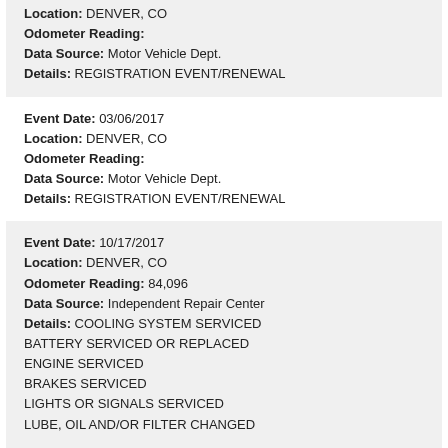Location: DENVER, CO
Odometer Reading:
Data Source: Motor Vehicle Dept.
Details: REGISTRATION EVENT/RENEWAL
Event Date: 03/06/2017
Location: DENVER, CO
Odometer Reading:
Data Source: Motor Vehicle Dept.
Details: REGISTRATION EVENT/RENEWAL
Event Date: 10/17/2017
Location: DENVER, CO
Odometer Reading: 84,096
Data Source: Independent Repair Center
Details: COOLING SYSTEM SERVICED
BATTERY SERVICED OR REPLACED
ENGINE SERVICED
BRAKES SERVICED
LIGHTS OR SIGNALS SERVICED
LUBE, OIL AND/OR FILTER CHANGED